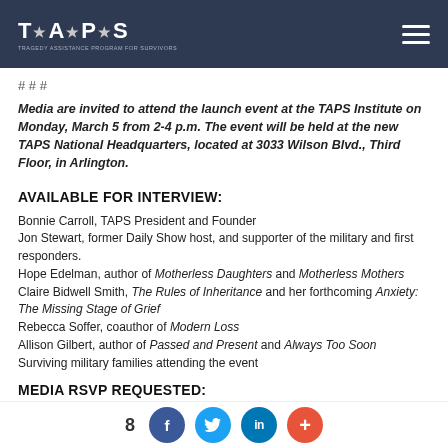TAPS - Tragedy Assistance Program for Survivors
# # #
Media are invited to attend the launch event at the TAPS Institute on Monday, March 5 from 2-4 p.m. The event will be held at the new TAPS National Headquarters, located at 3033 Wilson Blvd., Third Floor, in Arlington.
AVAILABLE FOR INTERVIEW:
Bonnie Carroll, TAPS President and Founder
Jon Stewart, former Daily Show host, and supporter of the military and first responders.
Hope Edelman, author of Motherless Daughters and Motherless Mothers
Claire Bidwell Smith, The Rules of Inheritance and her forthcoming Anxiety: The Missing Stage of Grief
Rebecca Soffer, coauthor of Modern Loss
Allison Gilbert, author of Passed and Present and Always Too Soon
Surviving military families attending the event
MEDIA RSVP REQUESTED:
8